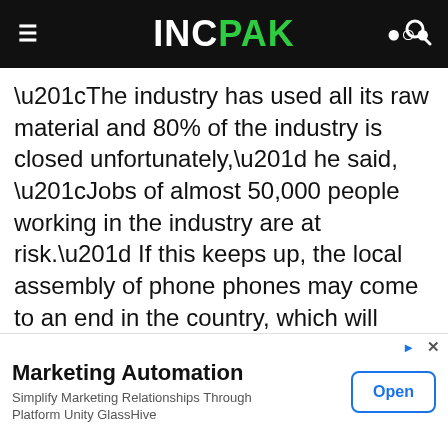INCPAK
“The industry has used all its raw material and 80% of the industry is closed unfortunately,” he said, “Jobs of almost 50,000 people working in the industry are at risk.” If this keeps up, the local assembly of phone phones may come to an end in the country, which will raise prices of these products significantly.
xpert Parvez Iftikhar said that supply of
Marketing Automation
Simplify Marketing Relationships Through Platform Unity GlassHive